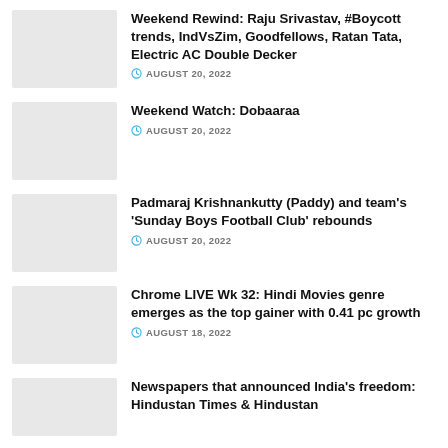Weekend Rewind: Raju Srivastav, #Boycott trends, IndVsZim, Goodfellows, Ratan Tata, Electric AC Double Decker — AUGUST 20, 2022
Weekend Watch: Dobaaraa — AUGUST 20, 2022
Padmaraj Krishnankutty (Paddy) and team's 'Sunday Boys Football Club' rebounds — AUGUST 20, 2022
Chrome LIVE Wk 32: Hindi Movies genre emerges as the top gainer with 0.41 pc growth — AUGUST 18, 2022
Newspapers that announced India's freedom: Hindustan Times & Hindustan